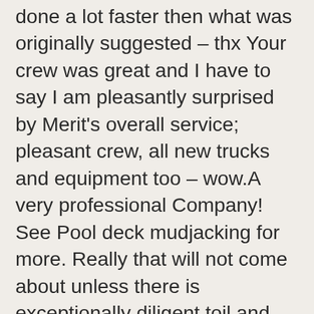done a lot faster then what was originally suggested – thx Your crew was great and I have to say I am pleasantly surprised by Merit's overall service; pleasant crew, all new trucks and equipment too – wow.A very professional Company! See Pool deck mudjacking for more. Really that will not come about unless there is exceptionally diligent toil and also commitment to the all-important customers plus the superior quality found in your end result. On top of that, polyurethane concrete lifting only requires 40% of the holes that mud jacking requires. (11) 4.6 (11) Responds quickly. 2018, 2019, 2020 consumer choice award winner - hamilton & niagara, Save Time and Money. Pool Decks, Polyurethane concrete lifting only requires holes that are 5/8″. Serving The Entire Front Range. That's 400% less. Your walkway or sidewalk is sunken and uneven. Most times Liftec can raise and level the garage floor to stop water from coming in. Concrete Raising, Concrete Leveling, Concrete Lifting,